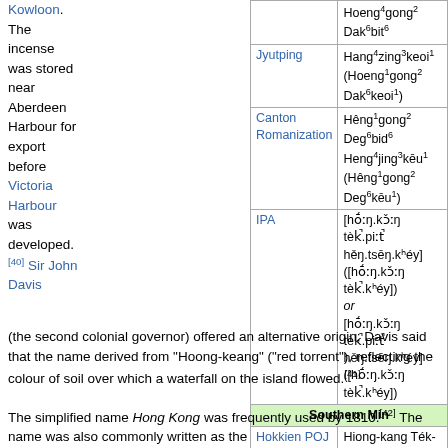Kowloon. The incense was stored near Aberdeen Harbour for export before Victoria Harbour was developed. [40] Sir John Davis (the second colonial governor) offered an alternative origin; Davis said that the name derived from "Hoong-keang" ("red torrent"), reflecting the colour of soil over which a waterfall on the island flowed.[41]
|  | Hoeng4gong2 Dak6bit6 |
| Jyutping | Hang4zing3keoi1 (Hoeng1gong2 Dak6keoi1) |
| Canton Romanization | Hêng1gong2 Deg6bid6 Heng4jing3kêu1 (Hêng1gong2 Deg6kêu1) |
| IPA | [hɔ́ːŋ.kɔ̌ːŋ tèk̚.piːt̚ hěŋ.tsēŋ.kʰéy] ([hɔ́ːŋ.kɔ̌ːŋ tèk̚.kʰéy]) or [hɔ́ːŋ.kɔ̌ːŋ tèk̚.piːt̚ hěŋ.tsēŋ.kʰéy] ([hɔ́ːŋ.kɔ̌ːŋ tèk̚.kʰéy]) |
|  | Southern Min |
| Hokkien POJ | Hiong-kang Ték-piát Hêng-chèng-khu (Hiong-kang Ték-khu) |
Sir John Davis (the second colonial governor) offered an alternative origin; Davis said that the name derived from "Hoong-keang" ("red torrent"), reflecting the colour of soil over which a waterfall on the island flowed.[41]
The simplified name Hong Kong was frequently used by 1810.[42] The name was also commonly written as the